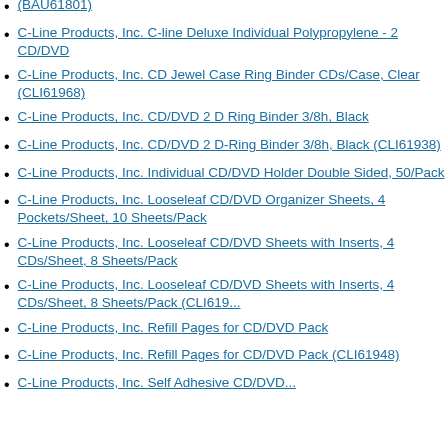(BAU61801)
C-Line Products, Inc. C-line Deluxe Individual Polypropylene - 2 CD/DVD
C-Line Products, Inc. CD Jewel Case Ring Binder CDs/Case, Clear (CLI61968)
C-Line Products, Inc. CD/DVD 2 D Ring Binder 3/8h, Black
C-Line Products, Inc. CD/DVD 2 D-Ring Binder 3/8h, Black (CLI61938)
C-Line Products, Inc. Individual CD/DVD Holder Double Sided, 50/Pack
C-Line Products, Inc. Looseleaf CD/DVD Organizer Sheets, 4 Pockets/Sheet, 10 Sheets/Pack
C-Line Products, Inc. Looseleaf CD/DVD Sheets with Inserts, 4 CDs/Sheet, 8 Sheets/Pack
C-Line Products, Inc. Looseleaf CD/DVD Sheets with Inserts, 4 CDs/Sheet, 8 Sheets/Pack (CLI619...)
C-Line Products, Inc. Refill Pages for CD/DVD Pack
C-Line Products, Inc. Refill Pages for CD/DVD Pack (CLI61948)
C-Line Products, Inc. Self Adhesive CD/DVD...